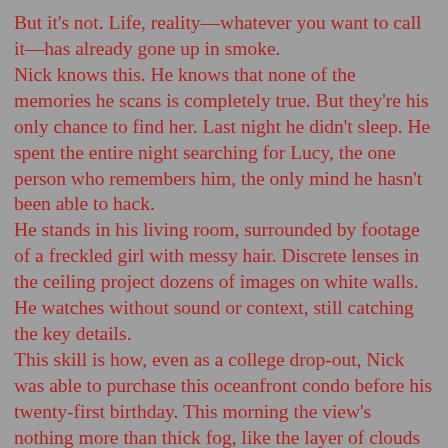But it's not. Life, reality—whatever you want to call it—has already gone up in smoke. Nick knows this. He knows that none of the memories he scans is completely true. But they're his only chance to find her. Last night he didn't sleep. He spent the entire night searching for Lucy, the one person who remembers him, the only mind he hasn't been able to hack. He stands in his living room, surrounded by footage of a freckled girl with messy hair. Discrete lenses in the ceiling project dozens of images on white walls. He watches without sound or context, still catching the key details. This skill is how, even as a college drop-out, Nick was able to purchase this oceanfront condo before his twenty-first birthday. This morning the view's nothing more than thick fog, like the layer of clouds seen through an airplane window. The memories of those closest to Lucy flicker on the north wall. On the opposite side flash the illicit memories of his clients. A large glass desk near the window reflects and